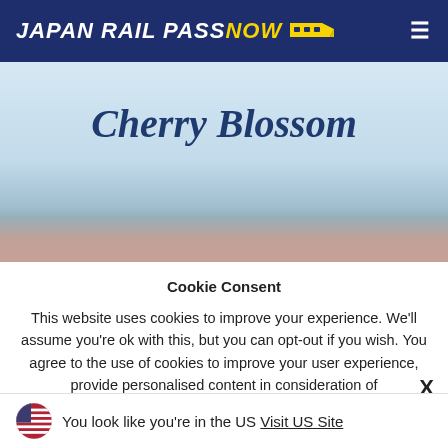JAPAN RAIL PASS NOW
Cherry Blossom
Cookie Consent
This website uses cookies to improve your experience. We'll assume you're ok with this, but you can opt-out if you wish. You agree to the use of cookies to improve your user experience, provide personalised content in consideration of
You look like you're in the US Visit US Site